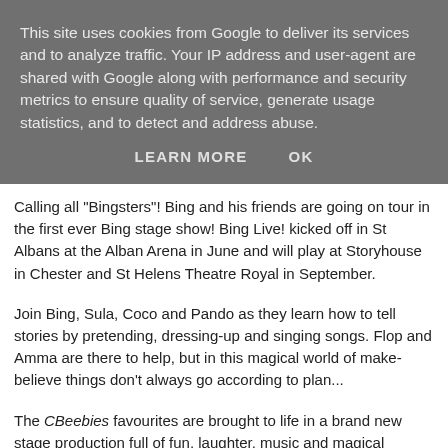This site uses cookies from Google to deliver its services and to analyze traffic. Your IP address and user-agent are shared with Google along with performance and security metrics to ensure quality of service, generate usage statistics, and to detect and address abuse.
LEARN MORE   OK
Calling all "Bingsters"! Bing and his friends are going on tour in the first ever Bing stage show! Bing Live! kicked off in St Albans at the Alban Arena in June and will play at Storyhouse in Chester and St Helens Theatre Royal in September.
Join Bing, Sula, Coco and Pando as they learn how to tell stories by pretending, dressing-up and singing songs. Flop and Amma are there to help, but in this magical world of make-believe things don't always go according to plan...
The CBeebies favourites are brought to life in a brand new stage production full of fun, laughter, music and magical puppetry. Bing Live! is the perfect first theatre trip for pre-